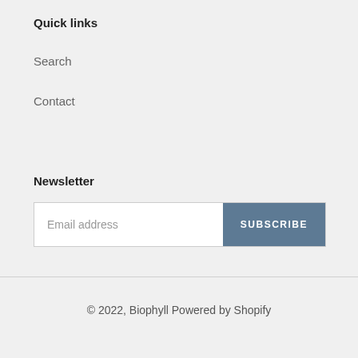Quick links
Search
Contact
Newsletter
Email address
SUBSCRIBE
© 2022, Biophyll Powered by Shopify